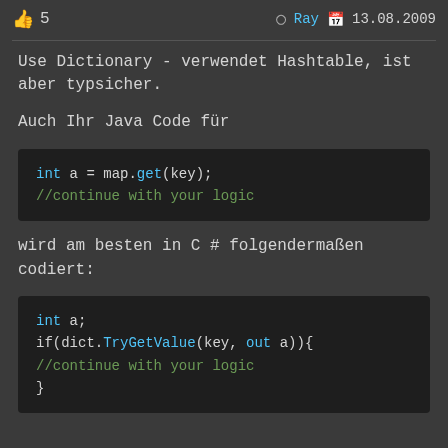👍 5   Ray  13.08.2009
Use Dictionary - verwendet Hashtable, ist aber typsicher.
Auch Ihr Java Code für
[Figure (screenshot): Code block showing: int a = map.get(key); //continue with your logic]
wird am besten in C # folgendermaßen codiert:
[Figure (screenshot): Code block showing: int a; if(dict.TryGetValue(key, out a)){ //continue with your logic }]